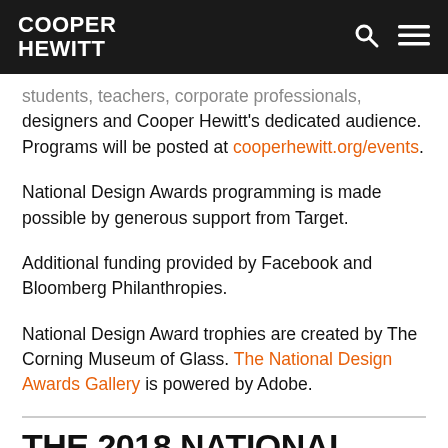COOPER HEWITT
students, teachers, corporate professionals, designers and Cooper Hewitt's dedicated audience. Programs will be posted at cooperhewitt.org/events.
National Design Awards programming is made possible by generous support from Target.
Additional funding provided by Facebook and Bloomberg Philanthropies.
National Design Award trophies are created by The Corning Museum of Glass. The National Design Awards Gallery is powered by Adobe.
THE 2018 NATIONAL DESIGN AWARD